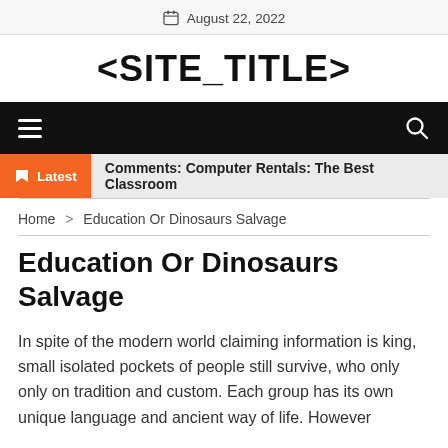August 22, 2022
<SITE_TITLE>
[Figure (other): Navigation bar with hamburger menu icon on left and search icon on right, black background]
Latest  Comments: Computer Rentals: The Best Classroom
Home > Education Or Dinosaurs Salvage
Education Or Dinosaurs Salvage
In spite of the modern world claiming information is king, small isolated pockets of people still survive, who only only on tradition and custom. Each group has its own unique language and ancient way of life. However